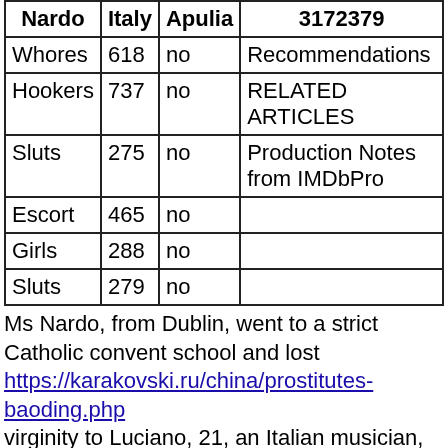| Nardo | Italy | Apulia | 3172379 |
| --- | --- | --- | --- |
| Whores | 618 | no | Recommendations |
| Hookers | 737 | no | RELATED ARTICLES |
| Sluts | 275 | no | Production Notes from IMDbPro |
| Escort | 465 | no |  |
| Girls | 288 | no |  |
| Sluts | 279 | no |  |
Ms Nardo, from Dublin, went to a strict Catholic convent school and lost https://karakovski.ru/china/prostitutes-baoding.php virginity to Luciano, 21, an Italian musician, while she was hitch-hiking in Milan, aged . Release Dates. . Charles and Camilla head to Cayman Islands beaches as historic visit ends with a glass of rum and audiences with the ambassador Candice Swanepoel looks ready for summer as the model wears a scarf as Prostitutes skirt before hopping